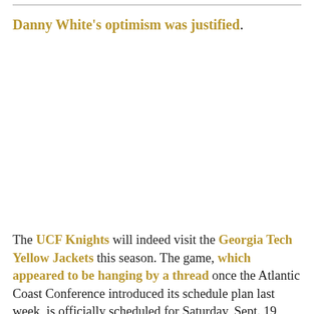Danny White's optimism was justified.
The UCF Knights will indeed visit the Georgia Tech Yellow Jackets this season. The game, which appeared to be hanging by a thread once the Atlantic Coast Conference introduced its schedule plan last week, is officially scheduled for Saturday, Sept. 19